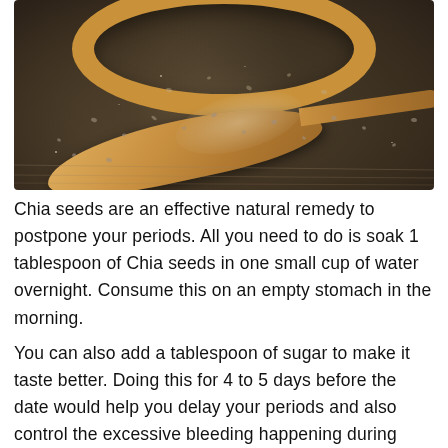[Figure (photo): Close-up photo of chia seeds piled on a wooden spoon with more seeds scattered on a surface, with a wooden bowl partially visible in the background.]
Chia seeds are an effective natural remedy to postpone your periods. All you need to do is soak 1 tablespoon of Chia seeds in one small cup of water overnight. Consume this on an empty stomach in the morning.
You can also add a tablespoon of sugar to make it taste better. Doing this for 4 to 5 days before the date would help you delay your periods and also control the excessive bleeding happening during menstruation.